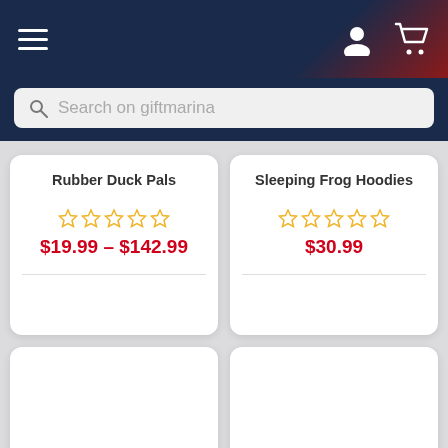giftmarina navigation bar with hamburger menu, user icon, and cart icon
Search on giftmarina
Rubber Duck Pals
$19.99 – $142.99
Sleeping Frog Hoodies
$30.99
[Figure (other): Blank product card placeholder (bottom left)]
[Figure (other): Blank product card placeholder (bottom right)]